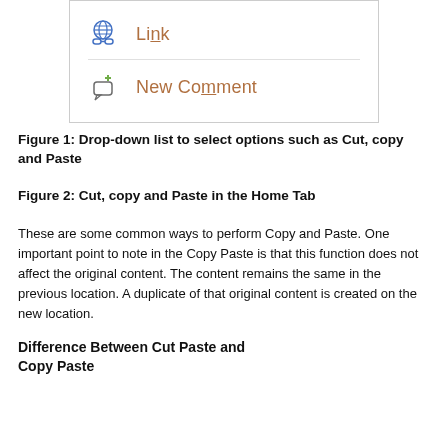[Figure (screenshot): Drop-down menu screenshot showing two menu items: Link (with globe and chain link icon) and New Comment (with green plus and comment bubble icon)]
Figure 1: Drop-down list to select options such as Cut, copy and Paste
Figure 2: Cut, copy and Paste in the Home Tab
These are some common ways to perform Copy and Paste. One important point to note in the Copy Paste is that this function does not affect the original content. The content remains the same in the previous location. A duplicate of that original content is created on the new location.
Difference Between Cut Paste and Copy Paste